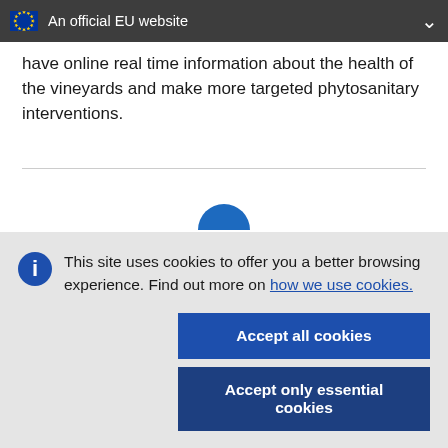An official EU website
have online real time information about the health of the vineyards and make more targeted phytosanitary interventions.
This site uses cookies to offer you a better browsing experience. Find out more on how we use cookies.
Accept all cookies
Accept only essential cookies